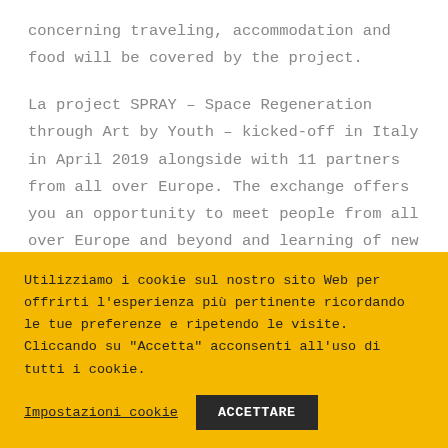concerning traveling, accommodation and food will be covered by the project.
La project SPRAY – Space Regeneration through Art by Youth – kicked-off in Italy in April 2019 alongside with 11 partners from all over Europe. The exchange offers you an opportunity to meet people from all over Europe and beyond and learning of new things, such as how does street art convey messages related to social inclusion and youth empowerment. You will be involved in a co-creation
Utilizziamo i cookie sul nostro sito Web per offrirti l'esperienza più pertinente ricordando le tue preferenze e ripetendo le visite. Cliccando su "Accetta" acconsenti all'uso di tutti i cookie.
Impostazioni cookie
ACCETTARE